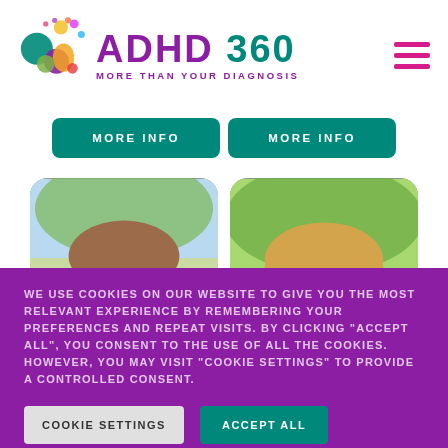[Figure (logo): ADHD 360 logo with colorful brain/circles graphic. Text reads ADHD 360 MORE THAN YOUR DIAGNOSIS]
MORE INFO
MORE INFO
[Figure (photo): Photo of a young man with brown hair outdoors with trees in background]
[Figure (photo): Photo of a young woman with blonde hair outdoors with green foliage in background]
WE USE COOKIES ON OUR WEBSITE TO GIVE YOU THE MOST RELEVANT EXPERIENCE BY REMEMBERING YOUR PREFERENCES AND REPEAT VISITS. BY CLICKING "ACCEPT ALL", YOU CONSENT TO THE USE OF ALL THE COOKIES. HOWEVER, YOU MAY VISIT "COOKIE SETTINGS" TO PROVIDE A CONTROLLED CONSENT.
COOKIE SETTINGS
ACCEPT ALL